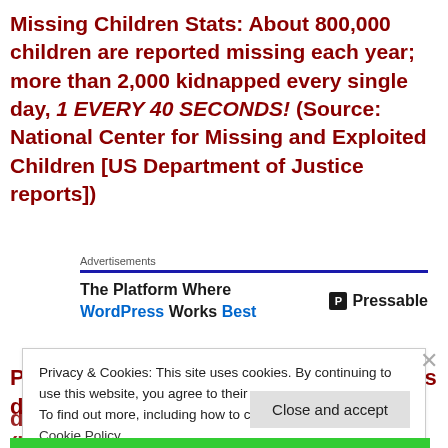Missing Children Stats: About 800,000 children are reported missing each year; more than 2,000 kidnapped every single day, 1 EVERY 40 SECONDS! (Source: National Center for Missing and Exploited Children [US Department of Justice reports])
Advertisements
[Figure (other): Advertisement banner: The Platform Where WordPress Works Best — Pressable]
President Donald Trump said pedophiles deserve the death penalty! (https://newspunch.com/trump
Privacy & Cookies: This site uses cookies. By continuing to use this website, you agree to their use. To find out more, including how to control cookies, see here: Cookie Policy
Close and accept